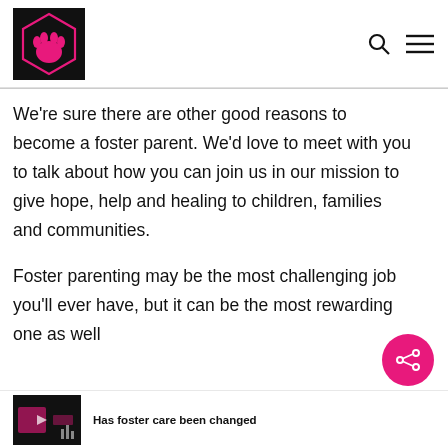[Logo: hand print icon in hexagon] [Search icon] [Menu icon]
We're sure there are other good reasons to become a foster parent. We'd love to meet with you to talk about how you can join us in our mission to give hope, help and healing to children, families and communities.

Foster parenting may be the most challenging job you'll ever have, but it can be the most rewarding one as well
Has foster care been changed